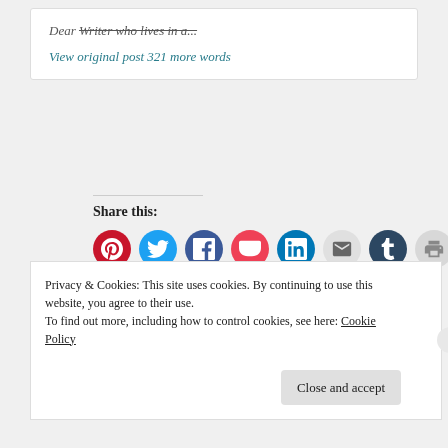Dear Writer who lives in a...
View original post 321 more words
Share this:
[Figure (infographic): Social sharing icons: Pinterest (red), Twitter (blue), Facebook (dark blue), Pocket (pink-red), LinkedIn (teal), Email (gray), Tumblr (dark navy), Print (light gray), Reddit (light blue), Telegram (blue), WhatsApp (green), Skype (blue)]
Loading...
Privacy & Cookies: This site uses cookies. By continuing to use this website, you agree to their use. To find out more, including how to control cookies, see here: Cookie Policy
Close and accept